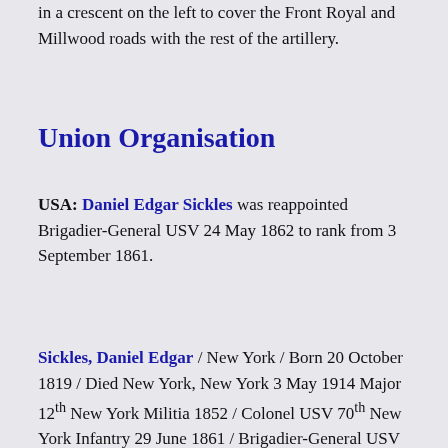in a crescent on the left to cover the Front Royal and Millwood roads with the rest of the artillery.
Union Organisation
USA: Daniel Edgar Sickles was reappointed Brigadier-General USV 24 May 1862 to rank from 3 September 1861.
Sickles, Daniel Edgar / New York / Born 20 October 1819 / Died New York, New York 3 May 1914 Major 12th New York Militia 1852 / Colonel USV 70th New York Infantry 29 June 1861 / Brigadier-General USV 3 September 1861 Expired 13 March 1862 / Reappointed Brigadier-General USV 24 May 1862 to